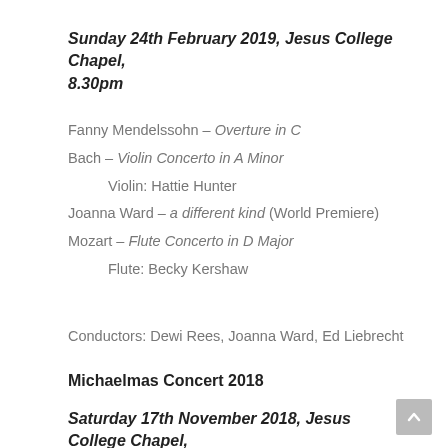Sunday 24th February 2019, Jesus College Chapel, 8.30pm
Fanny Mendelssohn – Overture in C
Bach – Violin Concerto in A Minor
Violin: Hattie Hunter
Joanna Ward – a different kind (World Premiere)
Mozart – Flute Concerto in D Major
Flute: Becky Kershaw
Conductors: Dewi Rees, Joanna Ward, Ed Liebrecht
Michaelmas Concert 2018
Saturday 17th November 2018, Jesus College Chapel, 8pm